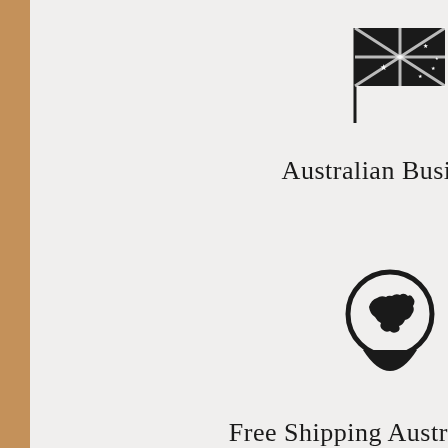[Figure (illustration): Black silhouette of Australian flag on a flagpole]
Australian Business
[Figure (illustration): Black map pin / location marker icon with silhouette of Australia map inside the circle]
Free Shipping Australia Wide